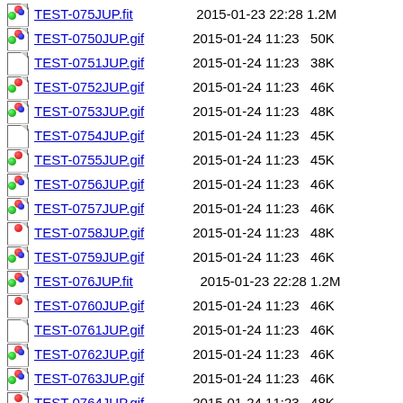TEST-075JUP.fit  2015-01-23 22:28 1.2M
TEST-0750JUP.gif 2015-01-24 11:23  50K
TEST-0751JUP.gif 2015-01-24 11:23  38K
TEST-0752JUP.gif 2015-01-24 11:23  46K
TEST-0753JUP.gif 2015-01-24 11:23  48K
TEST-0754JUP.gif 2015-01-24 11:23  45K
TEST-0755JUP.gif 2015-01-24 11:23  45K
TEST-0756JUP.gif 2015-01-24 11:23  46K
TEST-0757JUP.gif 2015-01-24 11:23  46K
TEST-0758JUP.gif 2015-01-24 11:23  48K
TEST-0759JUP.gif 2015-01-24 11:23  46K
TEST-076JUP.fit  2015-01-23 22:28 1.2M
TEST-0760JUP.gif 2015-01-24 11:23  46K
TEST-0761JUP.gif 2015-01-24 11:23  46K
TEST-0762JUP.gif 2015-01-24 11:23  46K
TEST-0763JUP.gif 2015-01-24 11:23  46K
TEST-0764JUP.gif 2015-01-24 11:23  48K